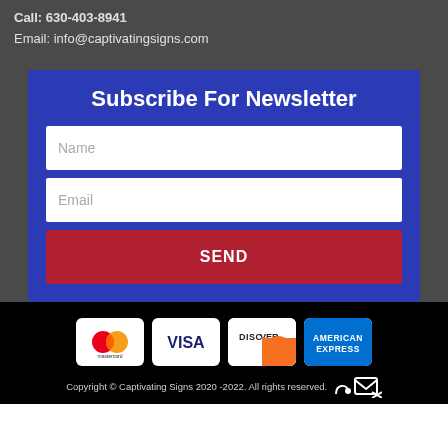Call: 630-403-8941
Email: info@captivatingsigns.com
Subscribe For Newsletter
Name
Email
SEND
[Figure (logo): Payment method logos: Mastercard, Visa, Discover, American Express]
Copyright © Captivating Signs 2020 -2022. All rights reserved.